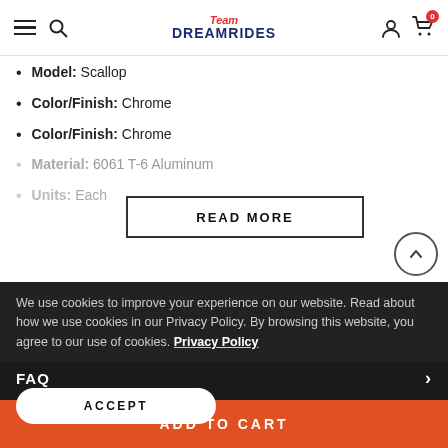Team DreamRides – navigation header with hamburger menu, search, logo, account, and cart (0)
Model: Scallop
Color/Finish: Chrome
Color/Finish: Chrome
Material: 6061 T-6 Aluminum
Units: Each
READ MORE
We use cookies to improve your experience on our website. Read about how we use cookies in our Privacy Policy. By browsing this website, you agree to our use of cookies. Privacy Policy
SHIPPING
RETURNS
ACCEPT
FAQ
ADD TO CART